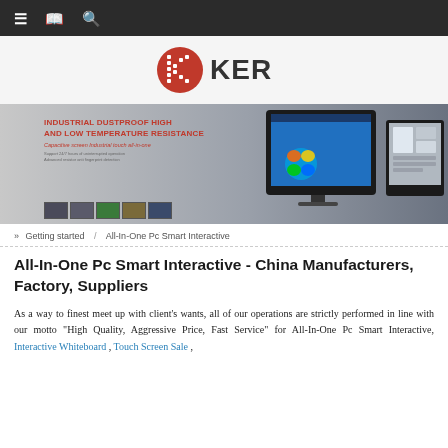Navigation bar with menu, bookmark, and search icons
[Figure (logo): KER logo — red circle with white K made of dots, followed by bold text KER]
[Figure (photo): Banner showing industrial touch screen monitors with text: INDUSTRIAL DUSTPROOF HIGH AND LOW TEMPERATURE RESISTANCE, Capacitive screen Industrial touch all-in-one, with product thumbnail images below]
» Getting started / All-In-One Pc Smart Interactive
All-In-One Pc Smart Interactive - China Manufacturers, Factory, Suppliers
As a way to finest meet up with client's wants, all of our operations are strictly performed in line with our motto "High Quality, Aggressive Price, Fast Service" for All-In-One Pc Smart Interactive, Interactive Whiteboard , Touch Screen Sale ,